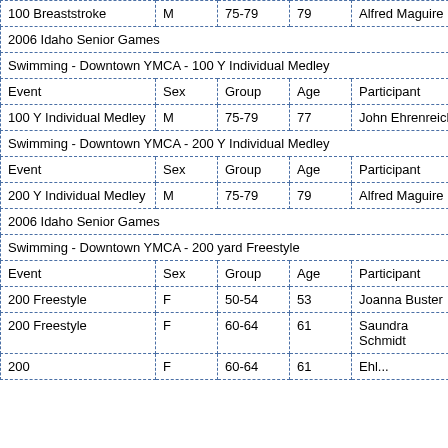| Event | Sex | Group | Age | Participant | Ho |
| --- | --- | --- | --- | --- | --- |
| 100 Breaststroke | M | 75-79 | 79 | Alfred Maguire | Tw |
| 2006 Idaho Senior Games |  |  |  |  |  |
| Swimming - Downtown YMCA - 100 Y Individual Medley |  |  |  |  |  |
| Event | Sex | Group | Age | Participant | Ho |
| 100 Y Individual Medley | M | 75-79 | 77 | John Ehrenreich | Cla |
| Swimming - Downtown YMCA - 200 Y Individual Medley |  |  |  |  |  |
| Event | Sex | Group | Age | Participant | Ho |
| 200 Y Individual Medley | M | 75-79 | 79 | Alfred Maguire | Tw |
| 2006 Idaho Senior Games |  |  |  |  |  |
| Swimming - Downtown YMCA - 200 yard Freestyle |  |  |  |  |  |
| Event | Sex | Group | Age | Participant | Ho |
| 200 Freestyle | F | 50-54 | 53 | Joanna Buster | Bo |
| 200 Freestyle | F | 60-64 | 61 | Saundra Schmidt | Bo |
| 200 ... | F | 60-64 | 61 | Ehl... | Bo |